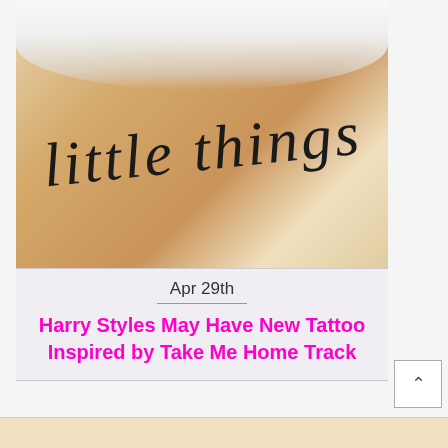[Figure (photo): Close-up photo of a tattoo on skin reading 'little things' in cursive script, with white fabric/towel visible at the top]
Apr 29th
Harry Styles May Have New Tattoo Inspired by Take Me Home Track